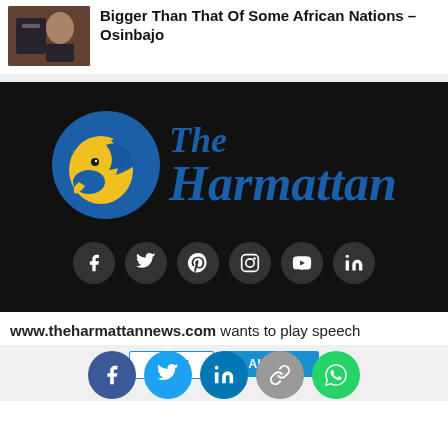Bigger Than That Of Some African Nations – Osinbajo
[Figure (photo): Small thumbnail photo of a person at a table]
[Figure (logo): The Harmattan news logo: blue circle with yellow eagle head, serif italic text 'The Harmattan' in blue]
[Figure (infographic): Row of social media icons (facebook, twitter, pinterest, instagram, youtube, linkedin) as dark circles on black background]
www.theharmattannews.com wants to play speech
[Figure (infographic): Share buttons row: facebook (blue), twitter (light blue), linkedin (dark blue), link (gray), whatsapp (green) — circular icons]
DENY   ALLOW